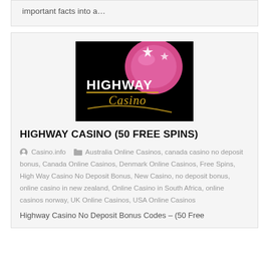important facts into a…
[Figure (logo): Highway Casino logo on black background with pink globe and gold swoosh text]
HIGHWAY CASINO (50 FREE SPINS)
Casino.info   Australia Online Casinos, canada casino no deposit bonus, Canada Online Casinos, Denmark Online Casinos, Free Spins, High Way Casino No Deposit Bonus, New Casino, no deposit bonus, online casino in new zealand, Online Casino in South Africa, online casinos norway, UK Online Casinos, USA Online Casinos
Highway Casino No Deposit Bonus Codes – (50 Free